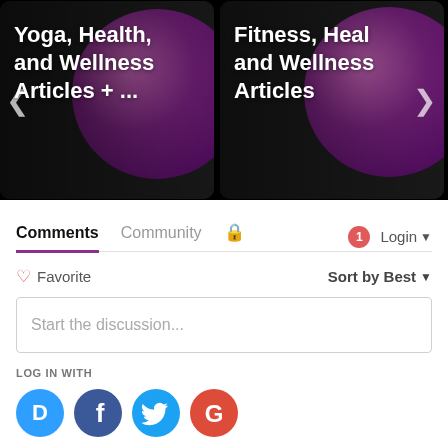[Figure (screenshot): Two dark image cards side by side. Left card shows text 'Yoga, Health, and Wellness Articles + ...' with a purple circle logo in background. Right card (partially cropped) shows 'Fitness, Heal and Wellness Articles' with similar purple logo.]
Comments   Community   🔒   1   Login ▾
♡ Favorite
Sort by Best ▾
Start the discussion...
LOG IN WITH
[Figure (logo): Four social login icons: Disqus (blue speech bubble with D), Facebook (dark blue circle with f), Twitter (light blue circle with bird), Google (red circle with G)]
OR SIGN UP WITH DISQUS ?
Name